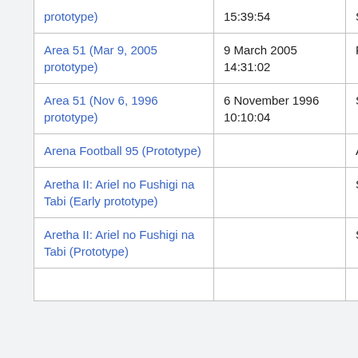| Name | Date | Platform |
| --- | --- | --- |
| prototype) | 15:39:54 | Saturn |
| Area 51 (Mar 9, 2005 prototype) | 9 March 2005 14:31:02 | PlayStation 2 |
| Area 51 (Nov 6, 1996 prototype) | 6 November 1996 10:10:04 | Sega Saturn |
| Arena Football 95 (Prototype) |  | Atari Jaguar |
| Aretha II: Ariel no Fushigi na Tabi (Early prototype) |  | SNES |
| Aretha II: Ariel no Fushigi na Tabi (Prototype) |  | SNES |